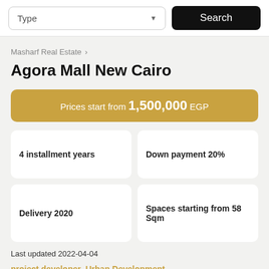Type  Search
Masharf Real Estate >
Agora Mall New Cairo
Prices start from 1,500,000 EGP
4 installment years
Down payment 20%
Delivery 2020
Spaces starting from 58 Sqm
Last updated 2022-04-04
project developer  Urban Development